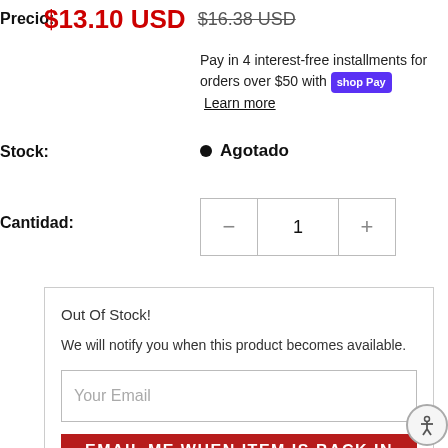Precio: $13.10 USD  $16.38 USD (strikethrough)
Pay in 4 interest-free installments for orders over $50 with Shop Pay. Learn more
Stock: • Agotado
Cantidad: 1
Out Of Stock!
We will notify you when this product becomes available.
Your Email
Email Me When Item is Back in Stock